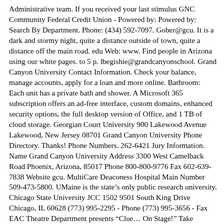Administrative team. If you received your last stimulus GNC Community Federal Credit Union - Powered by: Powered by: Search By Department. Phone: (434) 592-7097. Gober@gcu. It is a dark and stormy night, quite a distance outside of town, quite a distance off the main road. edu Web: www. Find people in Arizona using our white pages. to 5 p. lbegishie@grandcanyonschool. Grand Canyon University Contact Information. Check your balance, manage accounts, apply for a loan and more online. Bathroom: Each unit has a private bath and shower. A Microsoft 365 subscription offers an ad-free interface, custom domains, enhanced security options, the full desktop version of Office, and 1 TB of cloud storage. Georgian Court University 900 Lakewood Avenue Lakewood, New Jersey 08701 Grand Canyon University Phone Directory. Thanks! Phone Numbers. 262-6421 Jury Information. Name Grand Canyon University Address 3300 West Camelback Road Phoenix, Arizona, 85017 Phone 800-800-9776 Fax 602-639-7838 Website gcu. MultiCare Deaconess Hospital Main Number 509-473-5800. UMaine is the state's only public research university. Chicago State University JCC 1502 9501 South King Drive Chicago, IL 60628 (773) 995-2295 - Phone (773) 995-3656 - Fax EAC Theatre Department presents “Clue… On Stage!” Take yourself back to 1954. 5783. Chat live now Enter a department name to view its address and phone number: Browse by Name (login required). A PDF of the entire 2021-2022 Graduate catalog. 1-855-GCU-LOPE. 48859 • 989-774-4000 Parker